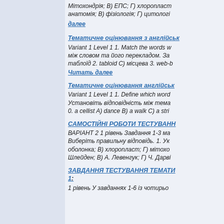Мітохондрія; В) ЕПС; Г) хлоропласт анатомія; В) фізіологія; Г) цитологі
далее
Тематичне оцінювання з англійськ
Variant 1 Level 1 1. Match the words w між словом та його перекладом. За таблоїд 2. tabloid C) місцева 3. web-b
Читать далее
Тематичне оцінювання англійськ
Variant 1 Level 1 1. Define which word Установіть відповідність між тема 0. a cellist A) dance B) a walk C) a stri
САМОСТІЙНІ РОБОТИ ТЕСТУВАНН
ВАРІАНТ 2 1 рівень Завдання 1-3 ма Виберіть правильну відповідь. 1. Ук оболонка; В) хлоропласт; Г) мітохо Шлейден; В) А. Левенгук; Г) Ч. Дарві
ЗАВДАННЯ ТЕСТУВАННЯ ТЕМАТИ 1:
1 рівень У завданнях 1-6 із чотирьо